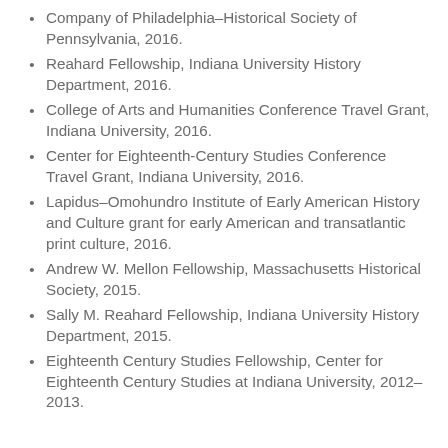Company of Philadelphia–Historical Society of Pennsylvania, 2016.
Reahard Fellowship, Indiana University History Department, 2016.
College of Arts and Humanities Conference Travel Grant, Indiana University, 2016.
Center for Eighteenth-Century Studies Conference Travel Grant, Indiana University, 2016.
Lapidus–Omohundro Institute of Early American History and Culture grant for early American and transatlantic print culture, 2016.
Andrew W. Mellon Fellowship, Massachusetts Historical Society, 2015.
Sally M. Reahard Fellowship, Indiana University History Department, 2015.
Eighteenth Century Studies Fellowship, Center for Eighteenth Century Studies at Indiana University, 2012–2013.